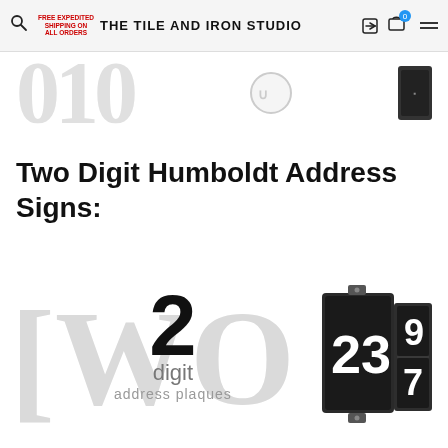FREE EXPEDITED SHIPPING ON ALL ORDERS  THE TILE AND IRON STUDIO
[Figure (photo): Partial top strip showing large light grey digits from address plaques and a small dark address sign on the right]
Two Digit Humboldt Address Signs:
[Figure (illustration): Product category illustration showing large light grey letters 'TWO' in background, a large bold '2' in foreground with 'digit' and 'address plaques' text below, and a physical two-digit address plaque product showing '23' on the right side with adjacent panel showing '9' and '7']